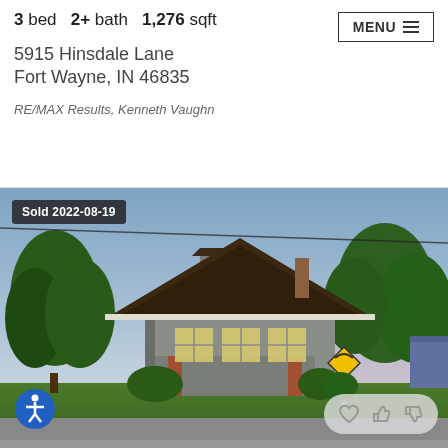3 bed  2+ bath  1,276 sqft
MENU
5915 Hinsdale Lane
Fort Wayne, IN 46835
RE/MAX Results, Kenneth Vaughn
[Figure (photo): Exterior photo of a craftsman-style house with dark roof, gray siding, brick porch pillars, surrounded by mature trees and green lawn. A yellow curve warning sign is visible. Badge reads 'Sold 2022-08-19'.]